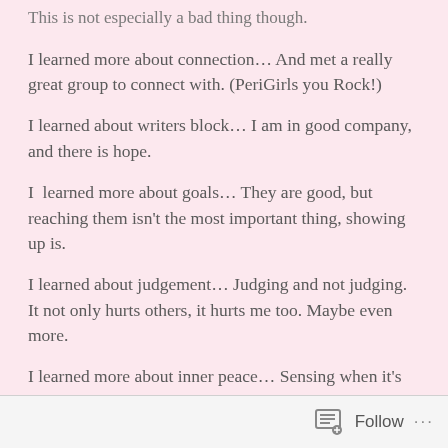This is not especially a bad thing though.
I learned more about connection… And met a really great group to connect with. (PeriGirls you Rock!)
I learned about writers block… I am in good company, and there is hope.
I  learned more about goals… They are good, but reaching them isn't the most important thing, showing up is.
I learned about judgement… Judging and not judging. It not only hurts others, it hurts me too. Maybe even more.
I learned more about inner peace… Sensing when it's gone and how to get it back.
I learned about safe, quiet places… And a little about how to create them for others.
Follow ...